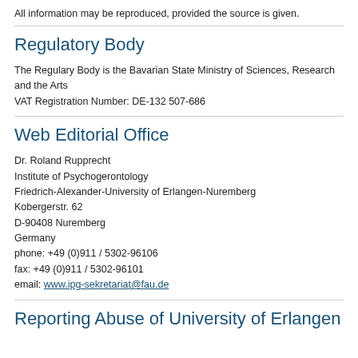All information may be reproduced, provided the source is given.
Regulatory Body
The Regulary Body is the Bavarian State Ministry of Sciences, Research and the Arts
VAT Registration Number: DE-132 507-686
Web Editorial Office
Dr. Roland Rupprecht
Institute of Psychogerontology
Friedrich-Alexander-University of Erlangen-Nuremberg
Kobergerstr. 62
D-90408 Nuremberg
Germany
phone: +49 (0)911 / 5302-96106
fax: +49 (0)911 / 5302-96101
email: www.ipg-sekretariat@fau.de
Reporting Abuse of University of Erlangen